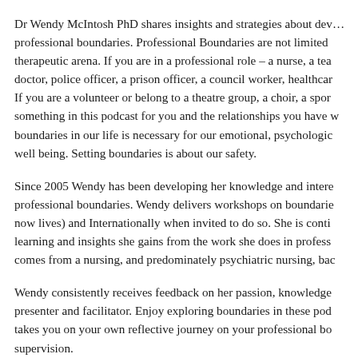Dr Wendy McIntosh PhD shares insights and strategies about developing professional boundaries. Professional Boundaries are not limited to the therapeutic arena. If you are in a professional role – a nurse, a teacher, a doctor, police officer, a prison officer, a council worker, healthcare worker. If you are a volunteer or belong to a theatre group, a choir, a sport, there is something in this podcast for you and the relationships you have with others. Having boundaries in our life is necessary for our emotional, psychological and physical well being. Setting boundaries is about our safety.
Since 2005 Wendy has been developing her knowledge and interest in professional boundaries. Wendy delivers workshops on boundaries in the UK (where she now lives) and Internationally when invited to do so. She is continually developing the learning and insights she gains from the work she does in professional settings. Wendy comes from a nursing, and predominately psychiatric nursing, background.
Wendy consistently receives feedback on her passion, knowledge and skills as a presenter and facilitator. Enjoy exploring boundaries in these podcasts which Wendy takes you on your own reflective journey on your professional boundaries and supervision.